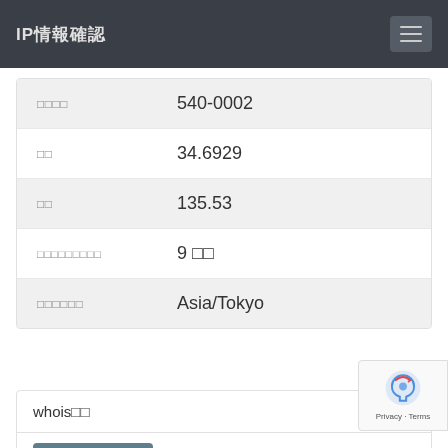IP情報確認
| ラベル | 値 |
| --- | --- |
| 郵便番号 | 540-0002 |
| 緯度 | 34.6929 |
| 経度 | 135.53 |
| タイムゾーンオフセット | 9 時間 |
| タイムゾーン名 | Asia/Tokyo |
whois情報
whois確認ボタン